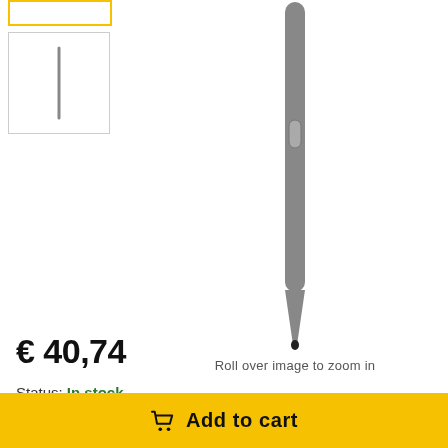[Figure (photo): Thumbnail image of a stylus pen shown as a small vertical line, second thumbnail in product gallery]
[Figure (photo): Main product image: grey Samsung S Pen stylus shown vertically against white background, with a small oval button visible on the side]
Roll over image to zoom in
€ 40,74
Status: In stock
Add to cart